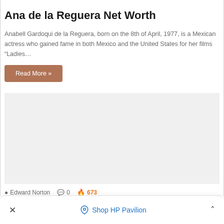Ana de la Reguera Net Worth
Anabell Gardoqui de la Reguera, born on the 8th of April, 1977, is a Mexican actress who gained fame in both Mexico and the United States for her films “Ladies…
Read More »
[Figure (other): Gray placeholder advertisement block]
Edward Norton  💬 0  🔥 673
×   Shop HP Pavilion   ˄